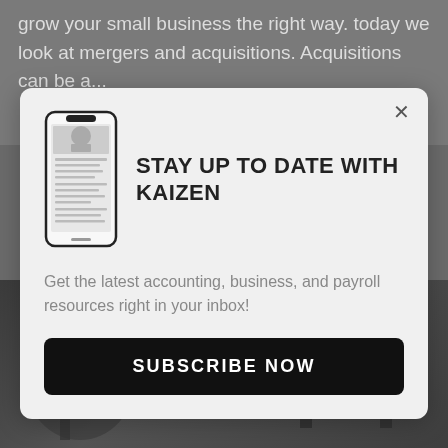grow your small business the right way. today we look at mergers and acquisitions. Acquisitions can be a...
STAY UP TO DATE WITH KAIZEN
Get the latest accounting, business, and payroll resources right in your inbox!
SUBSCRIBE NOW
[Figure (photo): Dark background photo of a person sitting at a desk with a laptop]